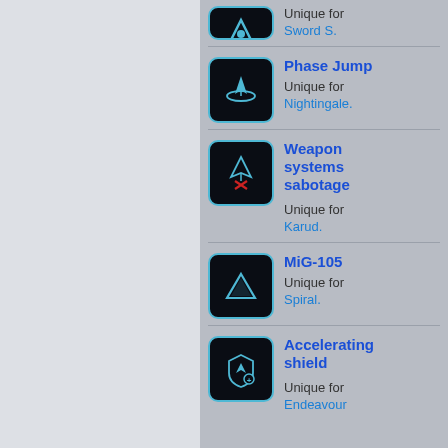[Figure (illustration): Partial entry at top - icon cut off, showing 'Unique for Sword S.' link]
Unique for Sword S.
[Figure (illustration): Phase Jump icon - dark rounded square with blue border, spaceship/arrow symbol]
Phase Jump
Unique for Nightingale.
[Figure (illustration): Weapon systems sabotage icon - dark rounded square with blue border, spacecraft with red X]
Weapon systems sabotage
Unique for Karud.
[Figure (illustration): MiG-105 icon - dark rounded square with blue border, triangle/delta shape]
MiG-105
Unique for Spiral.
[Figure (illustration): Accelerating shield icon - dark rounded square with blue border, shield with arrow]
Accelerating shield
Unique for Endeavour.